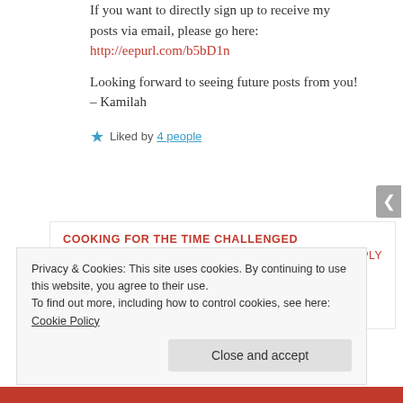If you want to directly sign up to receive my posts via email, please go here: http://eepurl.com/b5bD1n
Looking forward to seeing future posts from you!
– Kamilah
★ Liked by 4 people
COOKING FOR THE TIME CHALLENGED
June 13, 2016 at 10:09 PM
LOG IN TO REPLY
I will have to see your new blog. I am
Privacy & Cookies: This site uses cookies. By continuing to use this website, you agree to their use.
To find out more, including how to control cookies, see here: Cookie Policy
Close and accept